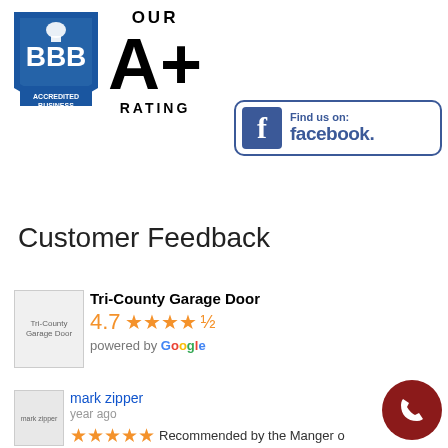[Figure (logo): BBB Accredited Business logo with A+ rating — blue BBB shield logo on left, large bold A+ text and RATING label on right]
[Figure (logo): Find us on Facebook button — blue Facebook icon with 'Find us on: facebook.' text in blue, bordered rectangle]
Customer Feedback
[Figure (logo): Tri-County Garage Door logo placeholder image]
Tri-County Garage Door
4.7 ★★★★½ powered by Google
[Figure (photo): mark zipper user avatar placeholder]
mark zipper
year ago
★★★★★ Recommended by the Manger o
Storage facility where there are plenty of garage doors some